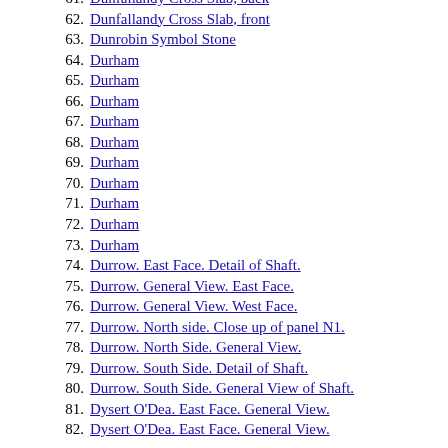61. Dunfallandy Cross Slab, back
62. Dunfallandy Cross Slab, front
63. Dunrobin Symbol Stone
64. Durham
65. Durham
66. Durham
67. Durham
68. Durham
69. Durham
70. Durham
71. Durham
72. Durham
73. Durham
74. Durrow. East Face. Detail of Shaft.
75. Durrow. General View. East Face.
76. Durrow. General View. West Face.
77. Durrow. North side. Close up of panel N1.
78. Durrow. North Side. General View.
79. Durrow. South Side. Detail of Shaft.
80. Durrow. South Side. General View of Shaft.
81. Dysert O'Dea. East Face. General View.
82. Dysert O'Dea. East Face. General View.
VI. Monuments: E